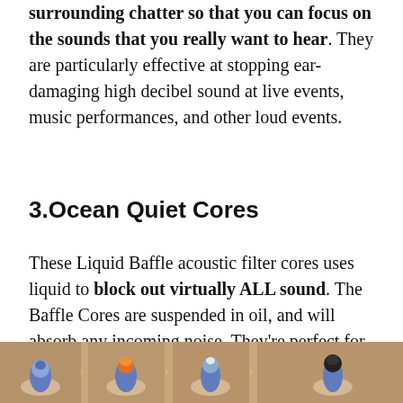surrounding chatter so that you can focus on the sounds that you really want to hear. They are particularly effective at stopping ear-damaging high decibel sound at live events, music performances, and other loud events.
3.Ocean Quiet Cores
These Liquid Baffle acoustic filter cores uses liquid to block out virtually ALL sound. The Baffle Cores are suspended in oil, and will absorb any incoming noise. They're perfect for meditation, reading, or when trying to sleep under noisy conditions!
[Figure (photo): Strip of five photos showing hands holding small earplug/filter cores of various types and colors against a wooden background.]